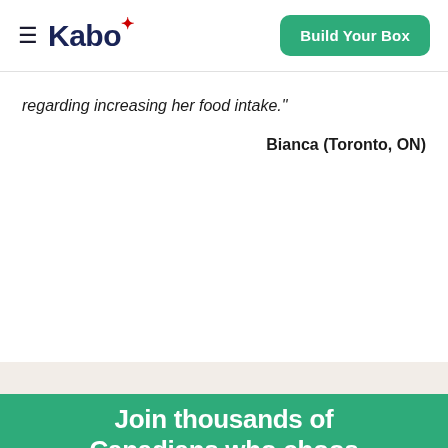Kabo | Build Your Box
regarding increasing her food intake."
Bianca (Toronto, ON)
Join thousands of Canadians who choos...